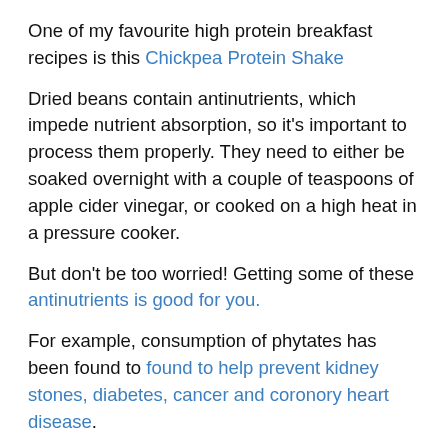One of my favourite high protein breakfast recipes is this Chickpea Protein Shake
Dried beans contain antinutrients, which impede nutrient absorption, so it's important to process them properly. They need to either be soaked overnight with a couple of teaspoons of apple cider vinegar, or cooked on a high heat in a pressure cooker.
But don't be too worried! Getting some of these antinutrients is good for you.
For example, consumption of phytates has been found to help prevent kidney stones, diabetes, cancer and coronory heart disease.
Canned beans are already low in anti-nutrients, which are destroyed during processing. One study showed lectin was reduced to less than 01% of its original